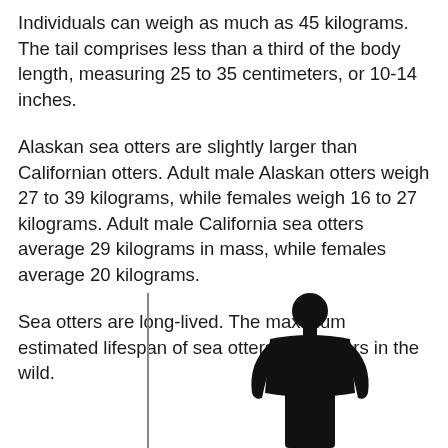Individuals can weigh as much as 45 kilograms. The tail comprises less than a third of the body length, measuring 25 to 35 centimeters, or 10-14 inches.
Alaskan sea otters are slightly larger than Californian otters. Adult male Alaskan otters weigh 27 to 39 kilograms, while females weigh 16 to 27 kilograms. Adult male California sea otters average 29 kilograms in mass, while females average 20 kilograms.
Sea otters are long-lived. The maximum estimated lifespan of sea otters is 23 years in the wild.
[Figure (illustration): Silhouette of a human figure standing, used as a size comparison reference. A vertical line appears to the left of the figure. The figure is shown from approximately the waist up, cropped at the bottom of the page.]